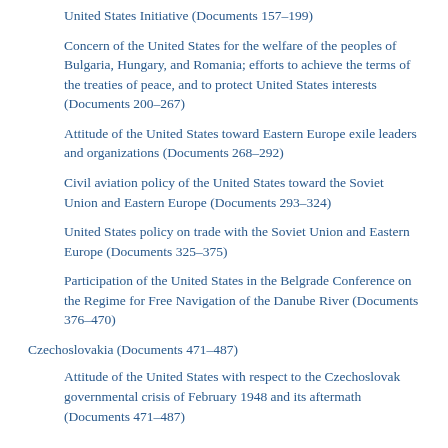United States Initiative (Documents 157–199)
Concern of the United States for the welfare of the peoples of Bulgaria, Hungary, and Romania; efforts to achieve the terms of the treaties of peace, and to protect United States interests (Documents 200–267)
Attitude of the United States toward Eastern Europe exile leaders and organizations (Documents 268–292)
Civil aviation policy of the United States toward the Soviet Union and Eastern Europe (Documents 293–324)
United States policy on trade with the Soviet Union and Eastern Europe (Documents 325–375)
Participation of the United States in the Belgrade Conference on the Regime for Free Navigation of the Danube River (Documents 376–470)
Czechoslovakia (Documents 471–487)
Attitude of the United States with respect to the Czechoslovak governmental crisis of February 1948 and its aftermath (Documents 471–487)